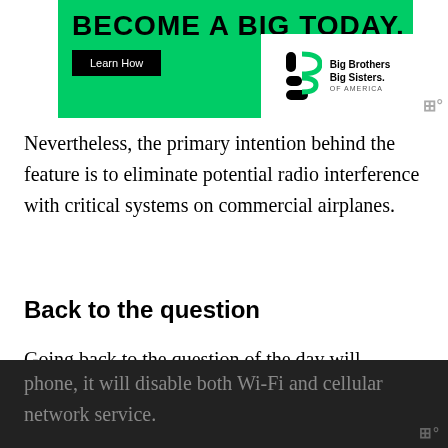[Figure (illustration): Big Brothers Big Sisters of America advertisement banner. Green background with bold black text 'BECOME A BIG TODAY.' A black 'Learn How' button and the Big Brothers Big Sisters logo with text on white box.]
Nevertheless, the primary intention behind the feature is to eliminate potential radio interference with critical systems on commercial airplanes.
Back to the question
Going back to the question of the day will imessage say delivered if phone is on airplane mode, when you enable airplane mode or flight mode on your cell phone, it will disable both Wi-Fi and cellular network service.